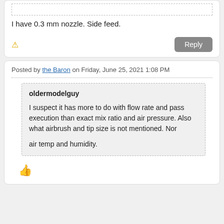I have 0.3 mm nozzle. Side feed.
Posted by the Baron on Friday, June 25, 2021 1:08 PM
oldermodelguy

I suspect it has more to do with flow rate and pass execution than exact mix ratio and air pressure. Also what airbrush and tip size is not mentioned. Nor

air temp and humidity.